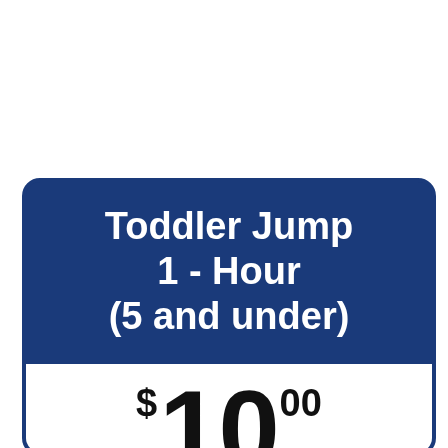Toddler Jump 1 - Hour (5 and under)
$10.00